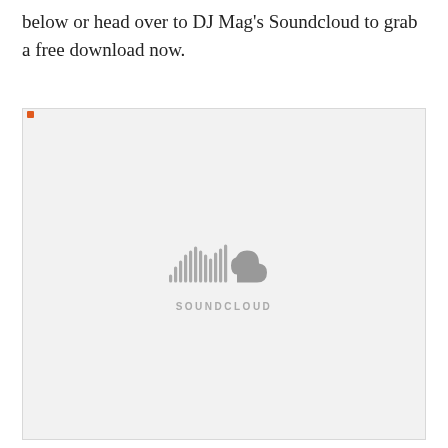below or head over to DJ Mag's Soundcloud to grab a free download now.
[Figure (other): Embedded SoundCloud player placeholder showing the SoundCloud logo (sound wave bars and cloud icon) with SOUNDCLOUD wordmark in grey, on a light grey background with a thin border and a small orange dot in the top-left corner.]